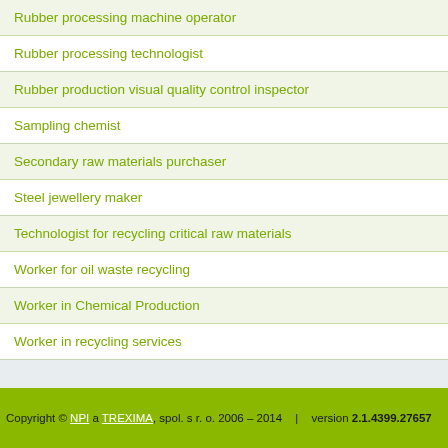Rubber processing machine operator
Rubber processing technologist
Rubber production visual quality control inspector
Sampling chemist
Secondary raw materials purchaser
Steel jewellery maker
Technologist for recycling critical raw materials
Worker for oil waste recycling
Worker in Chemical Production
Worker in recycling services
Copyright © NPI a TREXIMA, spol. s r. o. 2006 – 2014  |  version 2.1.4399.27657